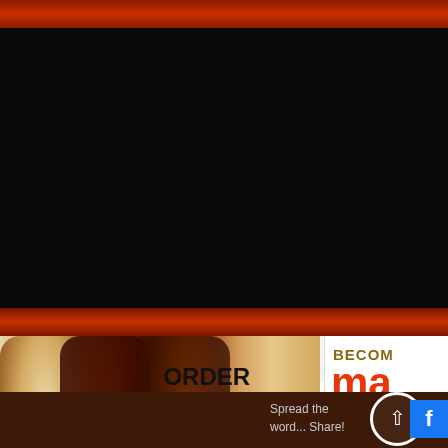[Figure (screenshot): Guitar retailer website screenshot showing navigation bar with home icon, GUITARS and ACADEMY menu items, partial logo 'ma', and partial text 'FIN' and 'GUIT' on the right side (cropped). Below is a content section with a guitar product photo banner saying 'ORDER CUSTOM' with payment card icons, a partial 'BECOME ma GUITA' panel on the right, and a dark brown footer with 'Spread the word... Share!' text, an up-arrow circle button, and a Facebook share button.]